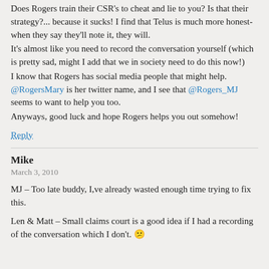Does Rogers train their CSR's to cheat and lie to you? Is that their strategy?... because it sucks! I find that Telus is much more honest- when they say they'll note it, they will.
It's almost like you need to record the conversation yourself (which is pretty sad, might I add that we in society need to do this now!)
I know that Rogers has social media people that might help. @RogersMary is her twitter name, and I see that @Rogers_MJ seems to want to help you too.
Anyways, good luck and hope Rogers helps you out somehow!
Reply
Mike
March 3, 2010
MJ – Too late buddy, I,ve already wasted enough time trying to fix this.
Len & Matt – Small claims court is a good idea if I had a recording of the conversation which I don't. 😕